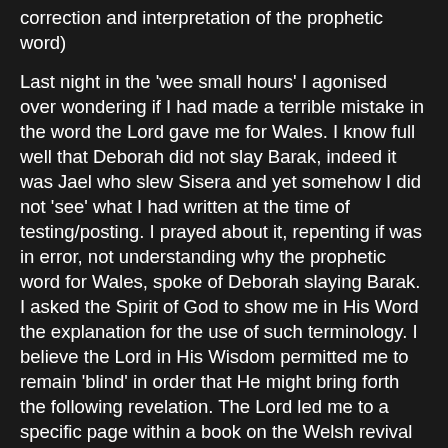correction and interpretation of the prophetic word)
Last night in the 'wee small hours' I agonised over wondering if I had made a terrible mistake in the word the Lord gave me for Wales. I know full well that Deborah did not slay Barak, indeed it was Jael who slew Sisera and yet somehow I did not 'see' what I had written at the time of testing/posting. I prayed about it, repenting if was in error, not understanding why the prophetic word for Wales, spoke of Deborah slaying Barak. I asked the Spirit of God to show me in His Word the explanation for the use of such terminology. I believe the Lord in His Wisdom permitted me to remain 'blind' in order that He might bring forth the following revelation. The Lord led me to a specific page within a book on the Welsh revival and I believe this is what He has shown:
THE GREAT WELSH REVIVAL AND WHAT EVAN ROBERTS SAID ABOUT IT
Evan Roberts on 3 November 1904 met at Moriah with a number of chldren to pray "Send the Holy Spirit to Moriah for Jesus' sake." He spoke on that evening on, "Ask, and it shall